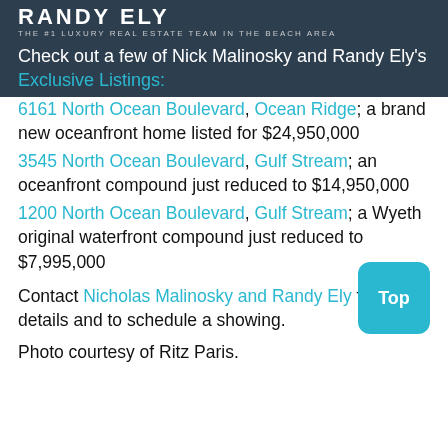RANDY ELY
THE #1 LUXURY REAL ESTATE TEAM IN THE BEACH AREA
Check out a few of Nick Malinosky and Randy Ely's Exclusive Listings:
6161 North Ocean Boulevard, Ocean Ridge; a brand new oceanfront home listed for $24,950,000
3545 North Ocean Boulevard, Gulf Stream; an oceanfront compound just reduced to $14,950,000
1200 North Ocean Boulevard, Gulf Stream; a Wyeth original waterfront compound just reduced to $7,995,000
Contact Nicholas Malinosky and Randy Ely for more details and to schedule a showing.
Photo courtesy of Ritz Paris.